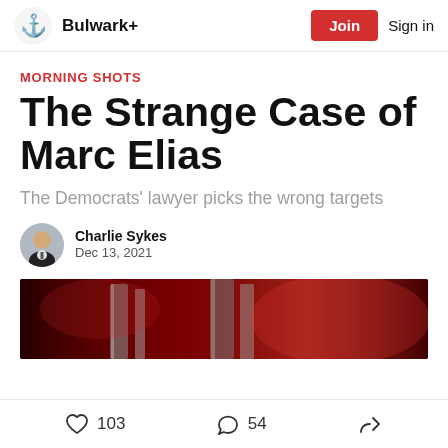Bulwark+  Join  Sign in
MORNING SHOTS
The Strange Case of Marc Elias
The Democrats' lawyer picks the wrong targets
Charlie Sykes
Dec 13, 2021
[Figure (photo): Dark red atmospheric photo showing metallic objects against a red-lit background]
103 likes  54 comments  share